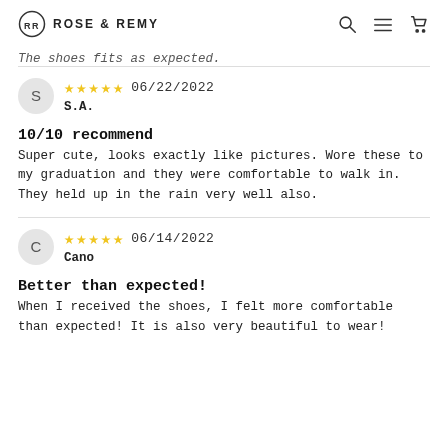ROSE & REMY
The shoes fits as expected.
S.A. — 5 stars — 06/22/2022
10/10 recommend
Super cute, looks exactly like pictures. Wore these to my graduation and they were comfortable to walk in. They held up in the rain very well also.
Cano — 5 stars — 06/14/2022
Better than expected!
When I received the shoes, I felt more comfortable than expected! It is also very beautiful to wear!